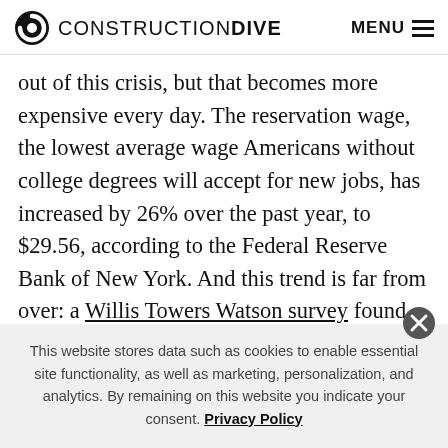CONSTRUCTION DIVE   MENU
out of this crisis, but that becomes more expensive every day. The reservation wage, the lowest average wage Americans without college degrees will accept for new jobs, has increased by 26% over the past year, to $29.56, according to the Federal Reserve Bank of New York. And this trend is far from over: a Willis Towers Watson survey found wage increases for production and manual labor workers rising from 2.5% this year to 2.8% in 2022.
This website stores data such as cookies to enable essential site functionality, as well as marketing, personalization, and analytics. By remaining on this website you indicate your consent. Privacy Policy